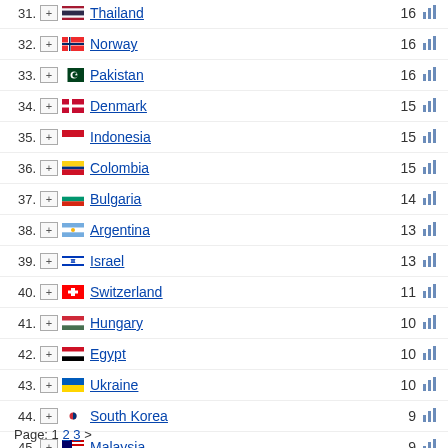31. Thailand 16
32. Norway 16
33. Pakistan 16
34. Denmark 15
35. Indonesia 15
36. Colombia 15
37. Bulgaria 14
38. Argentina 13
39. Israel 13
40. Switzerland 11
41. Hungary 10
42. Egypt 10
43. Ukraine 10
44. South Korea 9
45. Malaysia 9
46. Malta 8
47. Chile 8
48. Peru 7
49. Singapore 7
50. Lithuania 7
Page: 1 2 3 >